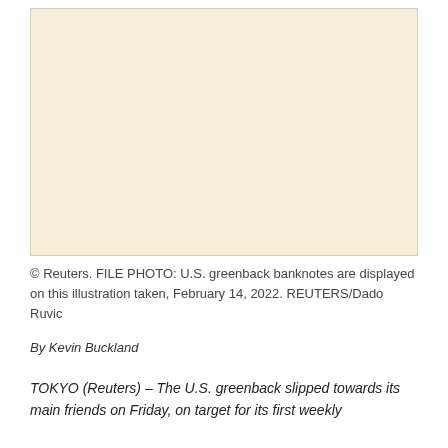[Figure (photo): A placeholder/blank image area representing a file photo of U.S. greenback banknotes displayed on an illustration taken February 14, 2022.]
© Reuters. FILE PHOTO: U.S. greenback banknotes are displayed on this illustration taken, February 14, 2022. REUTERS/Dado Ruvic
By Kevin Buckland
TOKYO (Reuters) – The U.S. greenback slipped towards its main friends on Friday, on target for its first weekly